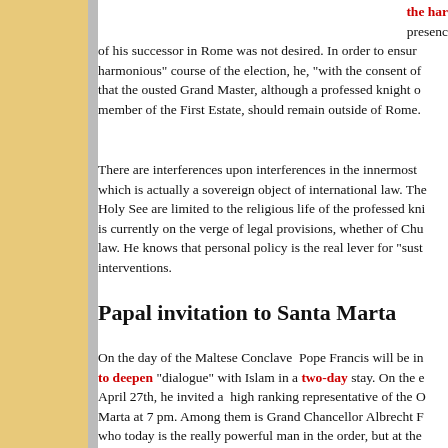the har... presence of his successor in Rome was not desired. In order to ensure a harmonious" course of the election, he, "with the consent of" that the ousted Grand Master, although a professed knight and member of the First Estate, should remain outside of Rome.
There are interferences upon interferences in the innermost which is actually a sovereign object of international law. The Holy See are limited to the religious life of the professed knights is currently on the verge of legal provisions, whether of Church law. He knows that personal policy is the real lever for "sust... interventions.
Papal invitation to Santa Marta
On the day of the Maltese Conclave Pope Francis will be in... to deepen "dialogue" with Islam in a two-day stay. On the e... April 27th, he invited a high ranking representative of the O... Marta at 7 pm. Among them is Grand Chancellor Albrecht F... who today is the really powerful man in the order, but at the...